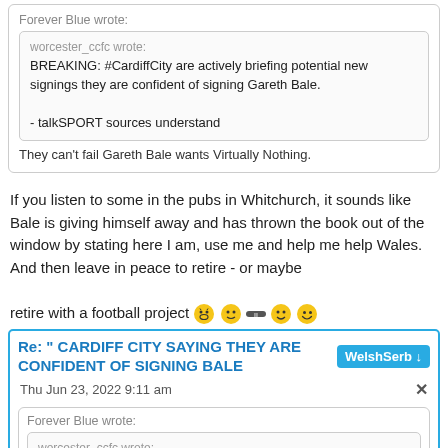Forever Blue wrote:
worcester_ccfc wrote:
BREAKING: #CardiffCity are actively briefing potential new signings they are confident of signing Gareth Bale.

- talkSPORT sources understand
They can't fail Gareth Bale wants Virtually Nothing.
If you listen to some in the pubs in Whitchurch, it sounds like Bale is giving himself away and has thrown the book out of the window by stating here I am, use me and help me help Wales. And then leave in peace to retire - or maybe retire with a football project [emojis]
Re: " CARDIFF CITY SAYING THEY ARE CONFIDENT OF SIGNING BALE
WelshSerb ↓
Thu Jun 23, 2022 9:11 am
Forever Blue wrote:
worcester_ccfc wrote:
BREAKING: #CardiffCity are actively briefing potential new signings they